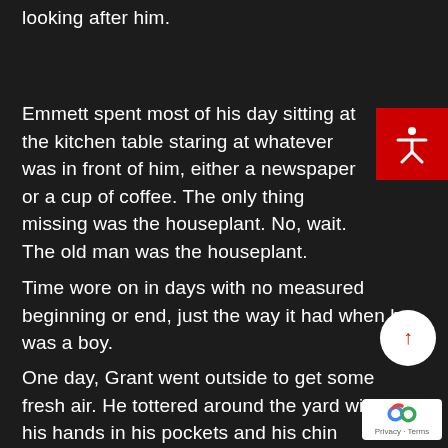looking after him.
Emmett spent most of his day sitting at the kitchen table staring at whatever was in front of him, either a newspaper or a cup of coffee.  The only thing missing was the houseplant.  No, wait.  The old man was the houseplant.
Time wore on in days with no measured beginning or end, just the way it had when he was a boy.
One day, Grant went outside to get some fresh air.  He tottered around the yard with his hands in his pockets and his chin bouncing off of his chest, as if